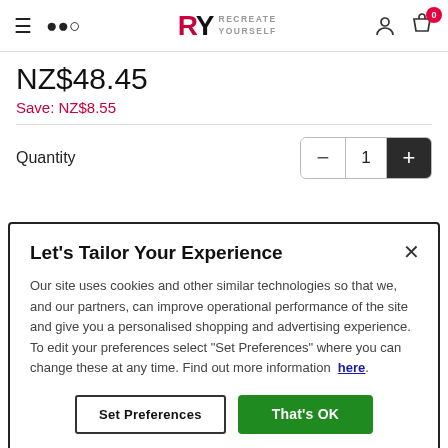[Figure (screenshot): Website header with hamburger menu, search icon, RY Recreate Yourself logo, user icon, and cart icon with 0 badge]
NZ$48.45
Save: NZ$8.55
Quantity  1  −  +
Let's Tailor Your Experience
Our site uses cookies and other similar technologies so that we, and our partners, can improve operational performance of the site and give you a personalised shopping and advertising experience. To edit your preferences select "Set Preferences" where you can change these at any time. Find out more information here.
Set Preferences   That's OK